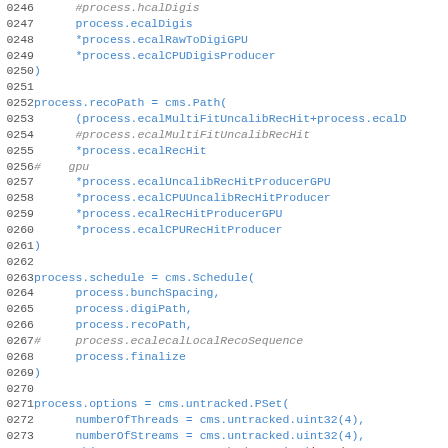[Figure (screenshot): Source code snippet in Python (CMS configuration), lines 0246–0275, showing process path and schedule configuration with blue monospace code on white background, line numbers in gray on the left.]